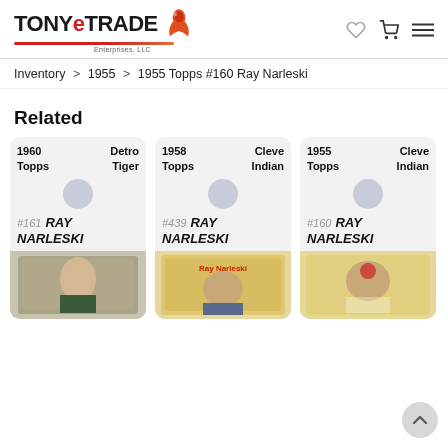TONYeTRADE Enterprises, LLC
Inventory > 1955 > 1955 Topps #160 Ray Narleski
Related
[Figure (other): Related card: 1960 Topps #161 Ray Narleski, Detroit Tigers]
[Figure (other): Related card: 1958 Topps #439 Ray Narleski, Cleveland Indians]
[Figure (other): Related card: 1955 Topps #160 Ray Narleski, Cleveland Indians]